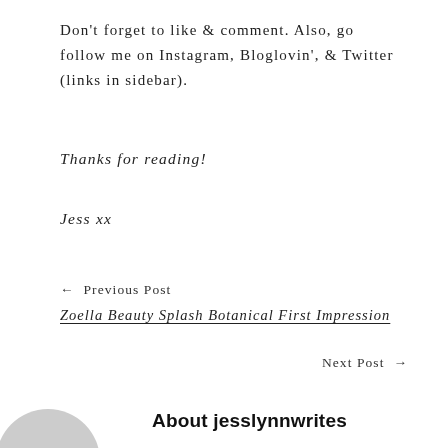Don't forget to like & comment. Also, go follow me on Instagram, Bloglovin', & Twitter (links in sidebar).
Thanks for reading!
Jess xx
← Previous Post
Zoella Beauty Splash Botanical First Impression
Next Post →
Stream of Conciousness 6
About jesslynnwrites